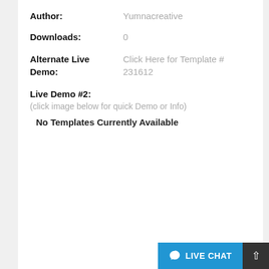Author: Yumnacreative
Downloads: 0
Alternate Live Demo: Click Here for Template # 231612
Live Demo #2:
(click image below for quick Demo or Info)
No Templates Currently Available